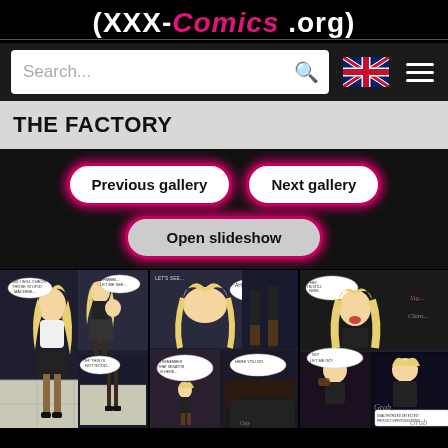(XXX-Comics .org)
[Figure (screenshot): Search bar with UK flag and hamburger menu]
THE FACTORY
Previous gallery | Next gallery | Open slideshow
[Figure (illustration): Three comic book panels from 'The Factory' showing anime-style female characters in a dark urban setting with speech bubbles]